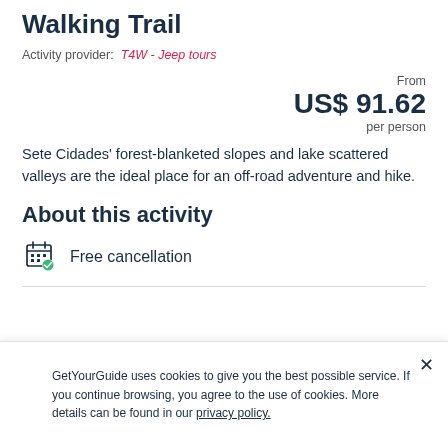Walking Trail
Activity provider: T4W - Jeep tours
From
US$ 91.62
per person
Sete Cidades' forest-blanketed slopes and lake scattered valleys are the ideal place for an off-road adventure and hike.
About this activity
Free cancellation
GetYourGuide uses cookies to give you the best possible service. If you continue browsing, you agree to the use of cookies. More details can be found in our privacy policy.